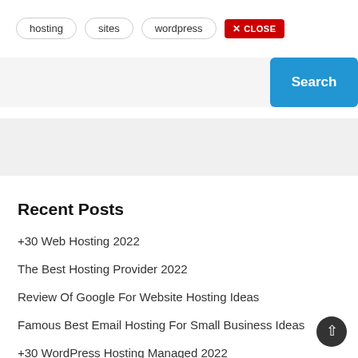hosting
sites
wordpress
✕ CLOSE
Search
Recent Posts
+30 Web Hosting 2022
The Best Hosting Provider 2022
Review Of Google For Website Hosting Ideas
Famous Best Email Hosting For Small Business Ideas
+30 WordPress Hosting Managed 2022